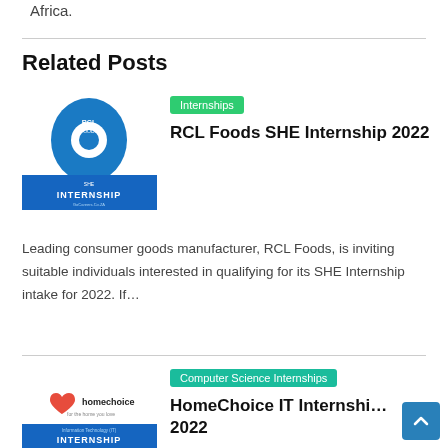Africa.
Related Posts
[Figure (logo): RCL Foods SHE Internship logo with blue water-drop shape and 'INTERNSHIP' banner]
Internships
RCL Foods SHE Internship 2022
Leading consumer goods manufacturer, RCL Foods, is inviting suitable individuals interested in qualifying for its SHE Internship intake for 2022. If…
[Figure (logo): HomeChoice logo and IT Internship banner image]
Computer Science Internships
HomeChoiceIT Internship 2022